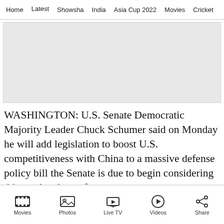Home  Latest  Showsha  India  Asia Cup 2022  Movies  Cricket
[Figure (other): Grey advertisement placeholder box]
WASHINGTON: U.S. Senate Democratic Majority Leader Chuck Schumer said on Monday he will add legislation to boost U.S. competitiveness with China to a massive defense policy bill the Senate is due to begin considering this week, a boost for a measure
Movies  Photos  Live TV  Videos  Share